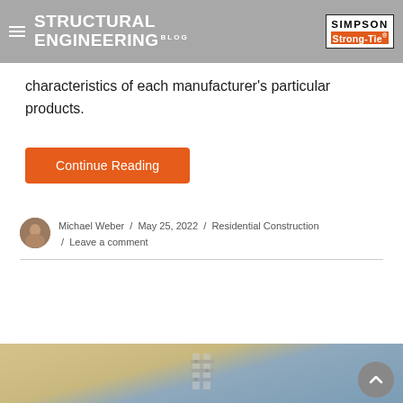STRUCTURAL ENGINEERING BLOG — Simpson Strong-Tie
characteristics of each manufacturer's particular products.
Continue Reading
Michael Weber / May 25, 2022 / Residential Construction / Leave a comment
[Figure (photo): Bottom section showing wood panels and metal connectors, partially visible image of structural hardware]